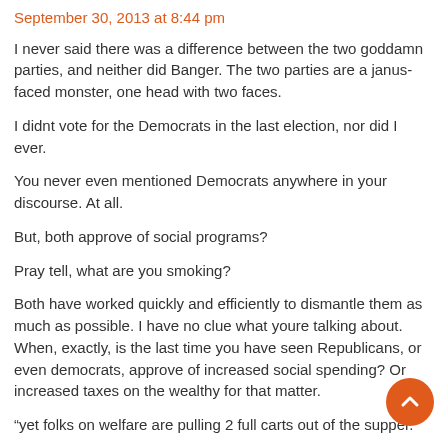September 30, 2013 at 8:44 pm
I never said there was a difference between the two goddamn parties, and neither did Banger. The two parties are a janus-faced monster, one head with two faces.
I didnt vote for the Democrats in the last election, nor did I ever.
You never even mentioned Democrats anywhere in your discourse. At all.
But, both approve of social programs?
Pray tell, what are you smoking?
Both have worked quickly and efficiently to dismantle them as much as possible. I have no clue what youre talking about. When, exactly, is the last time you have seen Republicans, or even democrats, approve of increased social spending? Or increased taxes on the wealthy for that matter.
“yet folks on welfare are pulling 2 full carts out of the supper.”
bullshit. This is propaganda and you know it.
Stop complaining about the poor, when its the wealthy